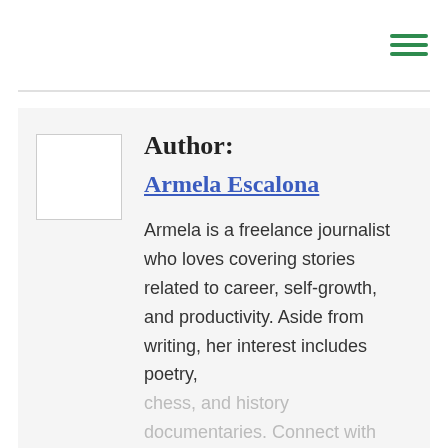[Figure (other): Hamburger menu icon with three green horizontal lines in top right corner]
Author:
Armela Escalona
Armela is a freelance journalist who loves covering stories related to career, self-growth, and productivity. Aside from writing, her interest includes poetry, chess, and history documentaries. Connect with